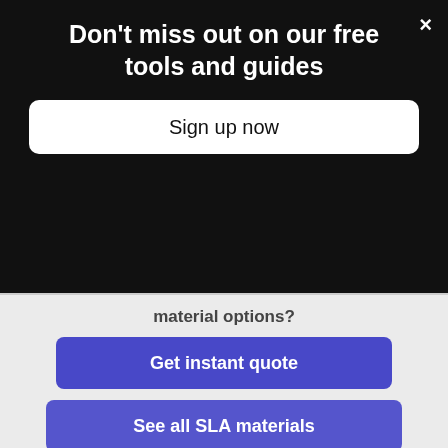Don't miss out on our free tools and guides
Sign up now
material options?
Get instant quote
See all SLA materials
One of the limitations of most industrial machines is that they produce parts using a top-down approach resulting in the need for large resin tanks (over 100L). This makes swapping between materials difficult and can increase lead time on parts. This also makes these machines more expensive to maintain.